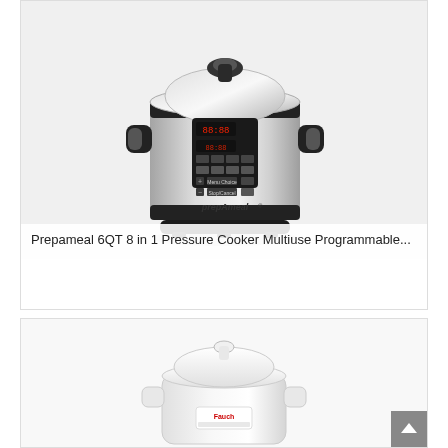[Figure (photo): Product photo of a Prepameal stainless steel 6QT electric pressure cooker with digital control panel and black handles]
Prepameal 6QT 8 in 1 Pressure Cooker Multiuse Programmable...
[Figure (photo): Product photo of a white electric pressure cooker with white lid and handles, partially visible]